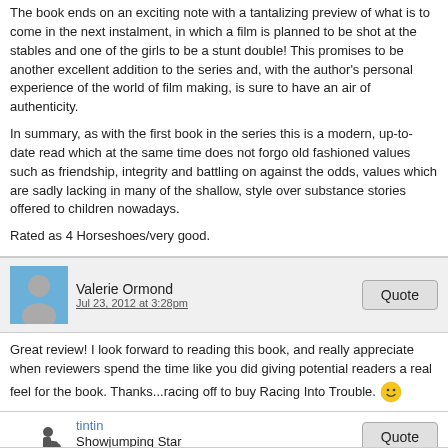The book ends on an exciting note with a tantalizing preview of what is to come in the next instalment, in which a film is planned to be shot at the stables and one of the girls to be a stunt double! This promises to be another excellent addition to the series and, with the author's personal experience of the world of film making, is sure to have an air of authenticity.
In summary, as with the first book in the series this is a modern, up-to-date read which at the same time does not forgo old fashioned values such as friendship, integrity and battling on against the odds, values which are sadly lacking in many of the shallow, style over substance stories offered to children nowadays.
Rated as 4 Horseshoes/very good.
Valerie Ormond
Jul 23, 2012 at 3:28pm
Great review! I look forward to reading this book, and really appreciate when reviewers spend the time like you did giving potential readers a real feel for the book. Thanks...racing off to buy Racing Into Trouble. 🙂
tintin
Showjumping Star
★★★★★
Nov 26, 2012 at 12:50pm